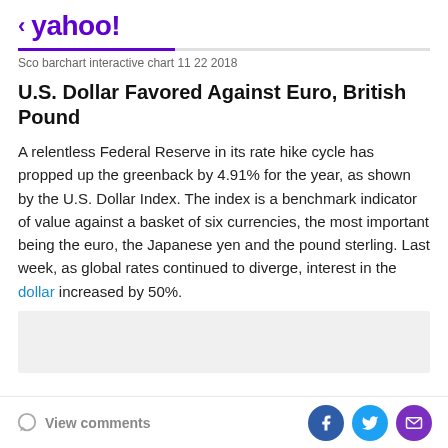< yahoo!
Sco barchart interactive chart 11 22 2018
U.S. Dollar Favored Against Euro, British Pound
A relentless Federal Reserve in its rate hike cycle has propped up the greenback by 4.91% for the year, as shown by the U.S. Dollar Index. The index is a benchmark indicator of value against a basket of six currencies, the most important being the euro, the Japanese yen and the pound sterling. Last week, as global rates continued to diverge, interest in the dollar increased by 50%.
[Figure (other): Gray placeholder box for an embedded interactive chart]
View comments | Social share buttons: Facebook, Twitter, Email